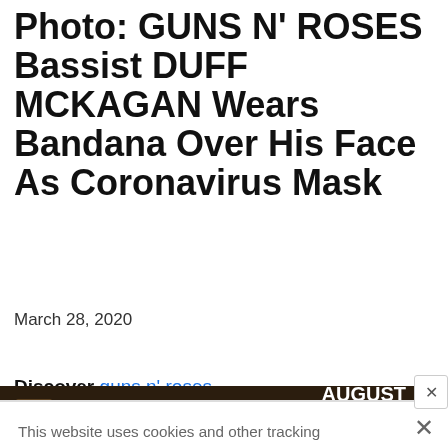Photo: GUNS N' ROSES Bassist DUFF MCKAGAN Wears Bandana Over His Face As Coronavirus Mask
March 28, 2020
Discover guns n' roses
This website uses cookies and other tracking technologies to enhance user experience and to analyze performance and traffic on our website. Information about your use of our site may also be shared with social media, advertising, retail and analytics providers and partners.  Privacy Policy
[Figure (screenshot): Ad banner for 'At The Gates' concert: August 29, The Fillmore Silver Spring]